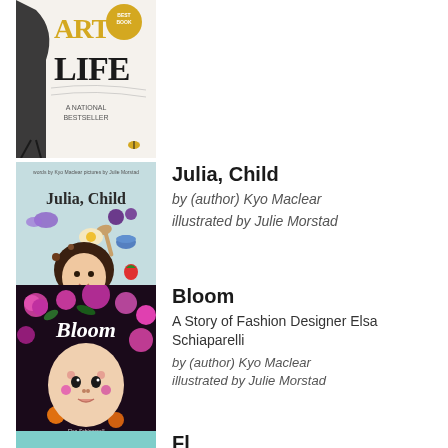[Figure (illustration): Partial book cover - art/life themed with black and white illustration, 'A Life' text visible, National Bestseller label]
Julia, Child
by (author) Kyo Maclear
illustrated by Julie Morstad
[Figure (illustration): Julia, Child book cover - illustrated children's book with a curly-haired girl and food items on light blue background]
Bloom
A Story of Fashion Designer Elsa Schiaparelli
by (author) Kyo Maclear
illustrated by Julie Morstad
[Figure (illustration): Bloom book cover - illustrated with a face surrounded by colorful flowers, pink and purple tones]
Fl…
[Figure (illustration): Partial book cover at bottom - teal/green background, partially visible]